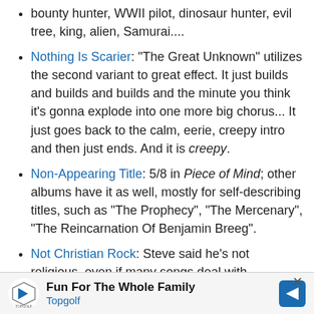bounty hunter, WWII pilot, dinosaur hunter, evil tree, king, alien, Samurai....
Nothing Is Scarier: "The Great Unknown" utilizes the second variant to great effect. It just builds and builds and builds and the minute you think it's gonna explode into one more big chorus... It just goes back to the calm, eerie, creepy intro and then just ends. And it is creepy.
Non-Appearing Title: 5/8 in Piece of Mind; other albums have it as well, mostly for self-describing titles, such as "The Prophecy", "The Mercenary", "The Reincarnation Of Benjamin Breeg".
Not Christian Rock: Steve said he's not religious, even if many songs deal with spirituality. But the band is far from being Satanist.
Obligatory Bondage Song: "Hooks in You", where Charlotte the Harlot .
[Figure (infographic): Advertisement banner for Topgolf: 'Fun For The Whole Family' with Topgolf logo and navigation arrow icon. Close button (x) in top right corner.]